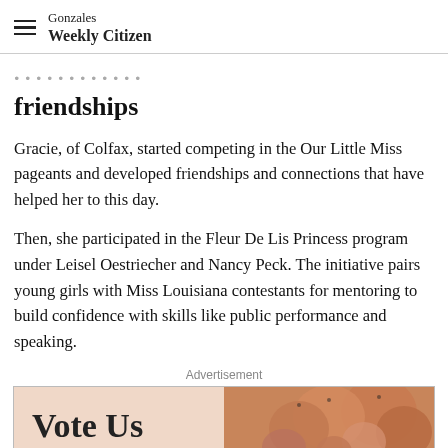Gonzales Weekly Citizen
friendships
Gracie, of Colfax, started competing in the Our Little Miss pageants and developed friendships and connections that have helped her to this day.
Then, she participated in the Fleur De Lis Princess program under Leisel Oestriecher and Nancy Peck. The initiative pairs young girls with Miss Louisiana contestants for mentoring to build confidence with skills like public performance and speaking.
Advertisement
[Figure (photo): Advertisement image showing 'Vote Us' text on a peach/tan background with rose gold balloons on the right side]